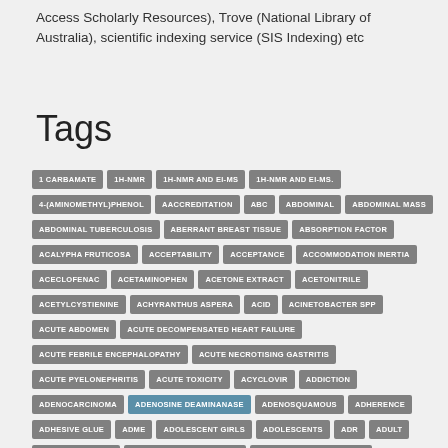Access Scholarly Resources), Trove (National Library of Australia), scientific indexing service (SIS Indexing) etc
Tags
1 CARBAMATE
1H-NMR
1H-NMR AND EI-MS
1H-NMR AND EI-MS.
4-(AMINOMETHYL)PHENOL
AACCREDITATION
ABC
ABDOMINAL
ABDOMINAL MASS
ABDOMINAL TUBERCULOSIS
ABERRANT BREAST TISSUE
ABSORPTION FACTOR
ACALYPHA FRUTICOSA
ACCEPTABILITY
ACCEPTANCE
ACCOMMODATION INERTIA
ACECLOFENAC
ACETAMINOPHEN
ACETONE EXTRACT
ACETONITRILE
ACETYLCYSTIENINE
ACHYRANTHUS ASPERA
ACID
ACINETOBACTER SPP
ACUTE ABDOMEN
ACUTE DECOMPENSATED HEART FAILURE
ACUTE FEBRILE ENCEPHALOPATHY
ACUTE NECROTISING GASTRITIS
ACUTE PYELONEPHRITIS
ACUTE TOXICITY
ACYCLOVIR
ADDICTION
ADENOCARCINOMA
ADENOSINE DEAMINANASE
ADENOSQUAMOUS
ADHERENCE
ADHESIVE GLUE
ADME
ADOLESCENT GIRLS
ADOLESCENTS
ADR
ADULT
ADULT STEM CELL
ADVERSE DRUG REACTION
ADVERSE DRUG REACTION